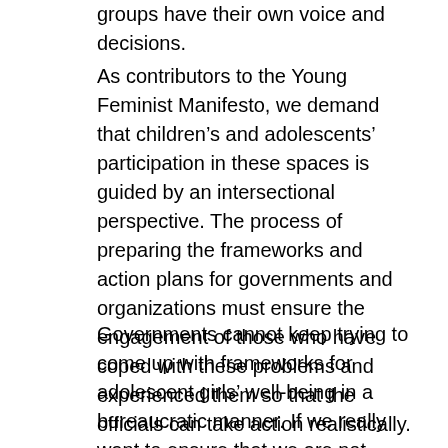groups have their own voice and decisions.
As contributors to the Young Feminist Manifesto, we demand that children’s and adolescents’ participation in these spaces is guided by an intersectional perspective. The process of preparing the frameworks and action plans for governments and organizations must ensure the engagement of those who have coped with these problems and experienced them so that the officials can take action realistically.
Governments cannot keep trying to come up with frameworks for adolescent girls’ well-being in a bureaucratic manner. If we really want to ensure that we are not leaving anyone behind, we have to take into consideration that each individual has different realities, different experiences and needs Unfortunately, in many cases, ensuring diversity and inclusion seems as a burden for government officials